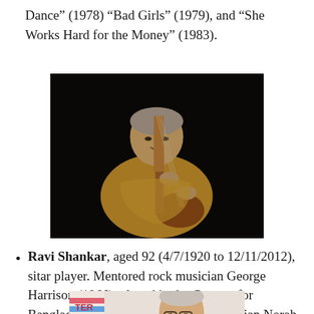Dance” (1978) “Bad Girls” (1979), and “She Works Hard for the Money” (1983).
[Figure (photo): Elderly man playing a sitar on a dark stage, wearing a light brown traditional top]
Ravi Shankar, aged 92 (4/7/1920 to 12/11/2012), sitar player. Mentored rock musician George Harrison (1966), played in the Concert for Bangladesh (1971). Father of jazz musician Norah Jones (1979).
[Figure (photo): Partial photo of an elderly man with glasses at what appears to be a formal event, with colorful banner visible]